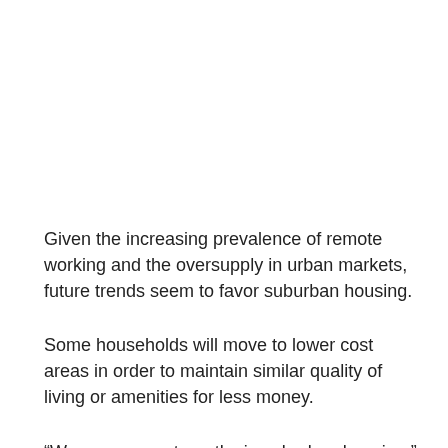Given the increasing prevalence of remote working and the oversupply in urban markets, future trends seem to favor suburban housing.
Some households will move to lower cost areas in order to maintain similar quality of living or amenities for less money.
“We see some strengths in suburban housing,” says Joseph Biasi, CoStar Advisory Services advisor. “If this work-from-